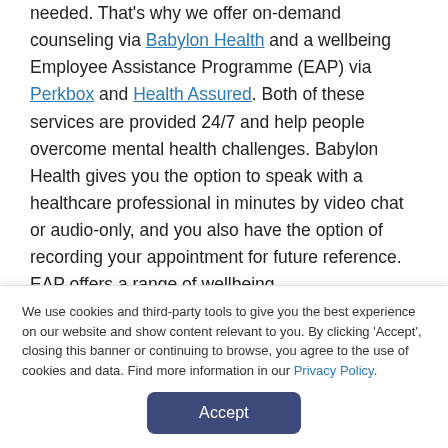needed. That's why we offer on-demand counseling via Babylon Health and a wellbeing Employee Assistance Programme (EAP) via Perkbox and Health Assured. Both of these services are provided 24/7 and help people overcome mental health challenges. Babylon Health gives you the option to speak with a healthcare professional in minutes by video chat or audio-only, and you also have the option of recording your appointment for future reference. EAP offers a range of wellbeing
We use cookies and third-party tools to give you the best experience on our website and show content relevant to you. By clicking 'Accept', closing this banner or continuing to browse, you agree to the use of cookies and data. Find more information in our Privacy Policy.